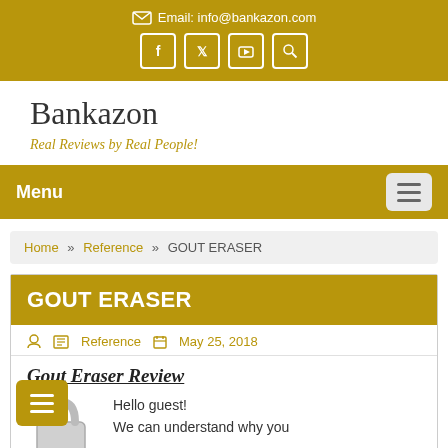Email: info@bankazon.com
Bankazon
Real Reviews by Real People!
Menu
Home » Reference » GOUT ERASER
GOUT ERASER
Reference   May 25, 2018
Gout Eraser Review
Hello guest! We can understand why you